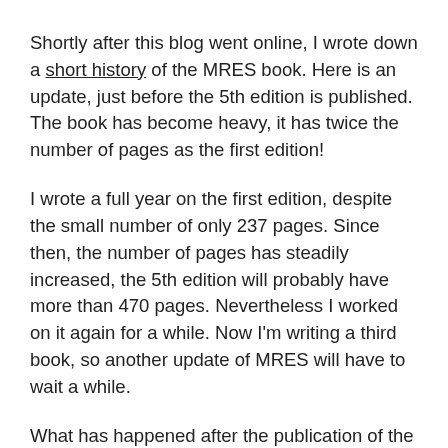Shortly after this blog went online, I wrote down a short history of the MRES book. Here is an update, just before the 5th edition is published. The book has become heavy, it has twice the number of pages as the first edition!
I wrote a full year on the first edition, despite the small number of only 237 pages. Since then, the number of pages has steadily increased, the 5th edition will probably have more than 470 pages. Nevertheless I worked on it again for a while. Now I'm writing a third book, so another update of MRES will have to wait a while.
What has happened after the publication of the 1st Edition? And compared to my short history of the book published in February 2017? Of course I have grown older, got a family and have less time to write books. You can clearly see when I got a family from my Publons